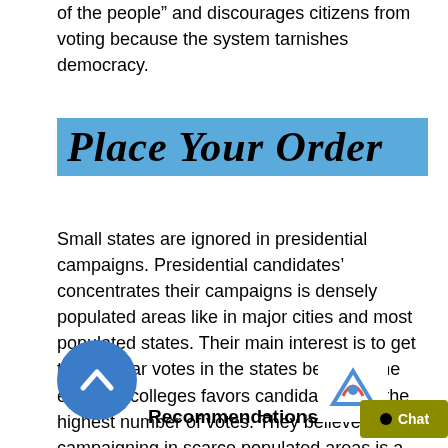of the people” and discourages citizens from voting because the system tarnishes democracy.
[Figure (other): Blue banner with bold italic serif text reading 'PLACE YOUR ORDER']
Small states are ignored in presidential campaigns. Presidential candidates’ concentrates their campaigns is densely populated areas like in major cities and most populated states. Their main interest is to get the popular votes in the states because the electoral colleges favors candidates with the highest number of votes. They believe that campaigning in scarce populated areas is a waste of time and resources because the elector’s votes determines the president elect (Desliver). This divides the nation because people in low populated areas feel less important in electing the nation’s president.
[Figure (other): Blue circular scroll-to-top button with upward chevron icon]
Recommendations
[Figure (other): reCAPTCHA logo]
[Figure (other): Olive/yellow chat button with bullet and text 'Chat']